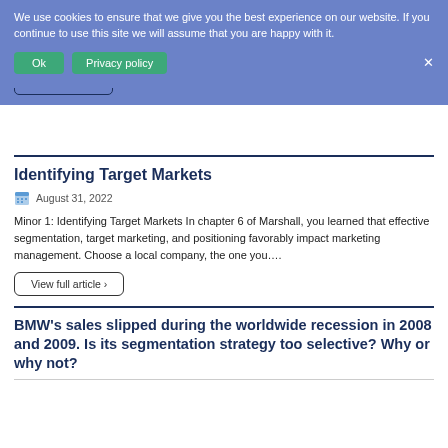[Figure (screenshot): Cookie consent banner overlay on blue background with Ok and Privacy policy buttons]
You are a project manager for a compliance-driven, complex project. You completed risk identification and risk analysis of 15 key risks that could affect your project (U...
View full article ›
Identifying Target Markets
August 31, 2022
Minor 1: Identifying Target Markets In chapter 6 of Marshall, you learned that effective segmentation, target marketing, and positioning favorably impact marketing management. Choose a local company, the one you….
View full article ›
BMW's sales slipped during the worldwide recession in 2008 and 2009. Is its segmentation strategy too selective? Why or why not?